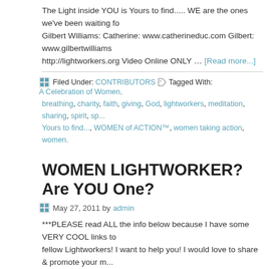The Light inside YOU is Yours to find..... WE are the ones we've been waiting for Gilbert Williams: Catherine: www.catherineduc.com Gilbert: www.gilbertwilliams http://lightworkers.org Video Online ONLY … [Read more...]
Filed Under: CONTRIBUTORS Tagged With: A Celebration of Women, breathing, charity, faith, giving, God, lightworkers, meditation, sharing, spirit, sp... Yours to find..., WOMEN of ACTION™, women taking action, women.
WOMEN LIGHTWORKER? Are YOU One?
May 27, 2011 by admin
***PLEASE read ALL the info below because I have some VERY COOL links to fellow Lightworkers! I want to help you! I would love to share & promote your m... feel like sharing, send me a video response! Make sure to watch the video resp... as well! Let's connect, promote & support one another! Let's keep this Lightwo... recreate Paradise on Earth! We can do it! Make sure to rate … [Read more...]
Filed Under: WOMEN that "Share in Positive Action" for Our World! Tagged With: LIGHTWORKER? ", "Garden of Eden", A Celebration of Women, absolute, Abu... circulation, conscious living, Daniel Vitalis, divine, environmental conservation, Leija, light, lightworkers, linear, love, money, non-linear, Paradise on Earth, per... protection, spirituality, sustinance, THE LIFE REGENATOR, The Ringing Ceda...